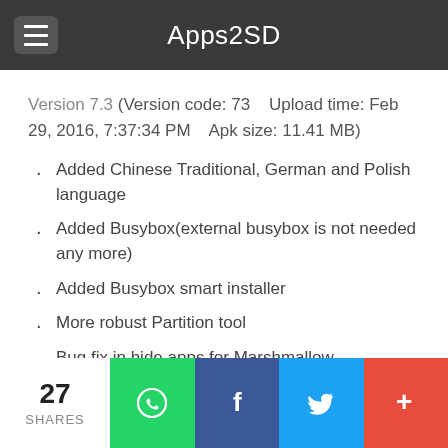Apps2SD
Version 7.3 (Version code: 73    Upload time: Feb 29, 2016, 7:37:34 PM    Apk size: 11.41 MB)
Added Chinese Traditional, German and Polish language
Added Busybox(external busybox is not needed any more)
Added Busybox smart installer
More robust Partition tool
Bug fix in hide apps for Marshmallow
Other bug fixes
Version 6.7 (Version code: 68    Upload time: Feb 9, 2016,
27 SHARES